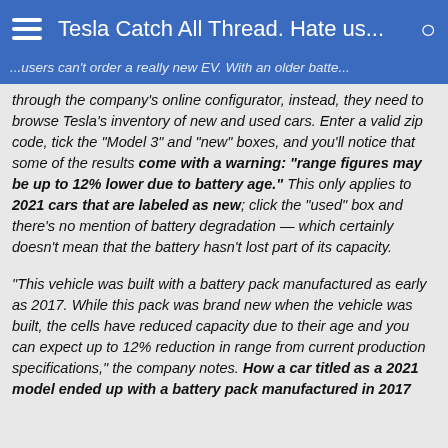Tesla Catch All Thread. Hate us...
...users can't order a really new EV. With an older battery through the company's online configurator, instead, they need to browse Tesla's inventory of new and used cars. Enter a valid zip code, tick the "Model 3" and "new" boxes, and you'll notice that some of the results come with a warning: "range figures may be up to 12% lower due to battery age." This only applies to 2021 cars that are labeled as new; click the "used" box and there's no mention of battery degradation — which certainly doesn't mean that the battery hasn't lost part of its capacity.
"This vehicle was built with a battery pack manufactured as early as 2017. While this pack was brand new when the vehicle was built, the cells have reduced capacity due to their age and you can expect up to 12% reduction in range from current production specifications," the company notes. How a car titled as a 2021 model ended up with a battery pack manufactured in 2017